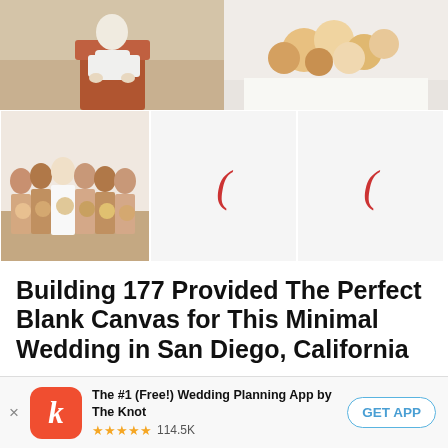[Figure (photo): Top banner with two photos: left shows groom seated in terracotta chair on beach; right shows floral arrangement on white tablecloth]
[Figure (photo): Bottom row of three photos: left shows group of bridesmaids in blush/neutral tones holding bouquets; middle and right are partially loaded/blank with The Knot logo parenthesis]
Building 177 Provided The Perfect Blank Canvas for This Minimal Wedding in San Diego, California
For Gabriella and Louie's modern, minimalist wedding at BLDG 177 in San Diego, California, a
[Figure (screenshot): App download banner: The Knot app icon (red with white k), app name 'The #1 (Free!) Wedding Planning App by The Knot', 5-star rating, 114.5K reviews, GET APP button]